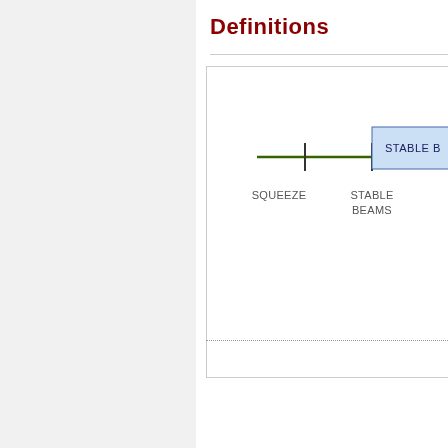Definitions
[Figure (schematic): Partial timeline diagram showing LHC fill sequence phases. A horizontal green line represents a timeline. A vertical tick mark is labeled 'SQUEEZE' below, another tick mark is labeled 'STABLE BEAMS' below. A blue shaded rectangle labeled 'STABLE B' (partially visible, cut off) starts at the 'STABLE BEAMS' tick and extends to the right. A horizontal dotted line runs below the diagram.]